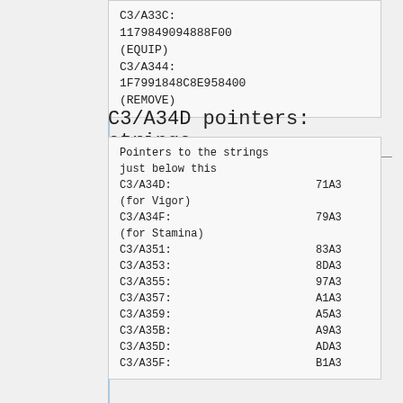C3/A33C:
1179849094888F00
(EQUIP)
C3/A344:
1F7991848C8E958400
(REMOVE)
C3/A34D pointers: strings
Pointers to the strings
just below this
C3/A34D:        71A3
(for Vigor)
C3/A34F:        79A3
(for Stamina)
C3/A351:        83A3
C3/A353:        8DA3
C3/A355:        97A3
C3/A357:        A1A3
C3/A359:        A5A3
C3/A35B:        A9A3
C3/A35D:        ADA3
C3/A35F:        B1A3